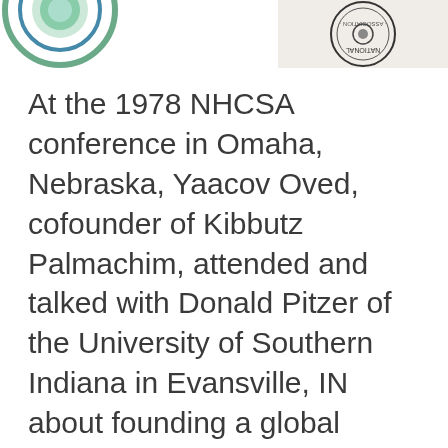[Figure (logo): Partial circular logo on the left side, showing blue/green colors — appears to be a communal studies organization logo]
[Figure (logo): Circular logo on the right side with text 'NATION' and 'ATION' visible, appearing upside down — an association or organization seal]
At the 1978 NHCSA conference in Omaha, Nebraska, Yaacov Oved, cofounder of Kibbutz Palmachim, attended and talked with Donald Pitzer of the University of Southern Indiana in Evansville, IN about founding a global academic communal studies organization. This meeting resulted in the International Communal Studies